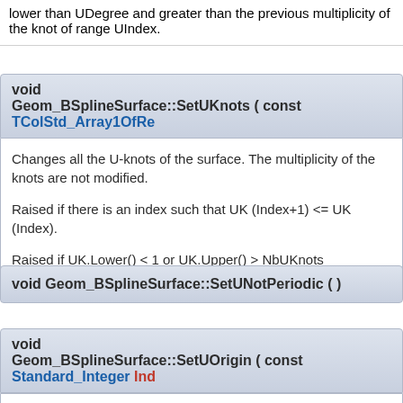lower than UDegree and greater than the previous multiplicity of the knot of range UIndex.
void Geom_BSplineSurface::SetUKnots ( const TColStd_Array1OfRe
Changes all the U-knots of the surface. The multiplicity of the knots are not modified.

Raised if there is an index such that UK (Index+1) <= UK (Index).

Raised if UK.Lower() < 1 or UK.Upper() > NbUKnots
void Geom_BSplineSurface::SetUNotPeriodic ( )
void
Geom_BSplineSurface::SetUOrigin ( const Standard_Integer Ind
Assigns the knot of index to being the origin of the knot table in the ...